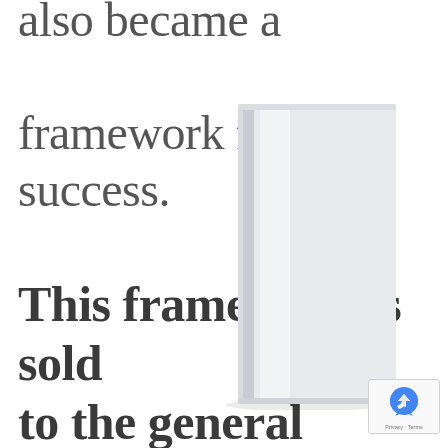also became a framework for success. This framework is sold to the general public as a foolproof path to accumulating social and material capital, even as it disregards
[Figure (photo): A hardcover book standing upright, light gray/white cover, overlaid on the text in the center of the image]
[Figure (logo): Google reCAPTCHA badge in bottom right corner showing the reCAPTCHA logo with Privacy and Terms links]